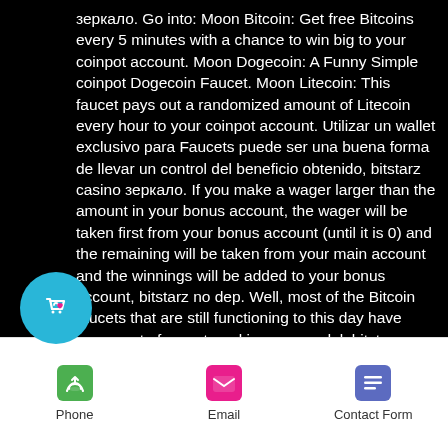зеркало. Go into: Moon Bitcoin: Get free Bitcoins every 5 minutes with a chance to win big to your coinpot account. Moon Dogecoin: A Funny Simple coinpot Dogecoin Faucet. Moon Litecoin: This faucet pays out a randomized amount of Litecoin every hour to your coinpot account. Utilizar un wallet exclusivo para Faucets puede ser una buena forma de llevar un control del beneficio obtenido, bitstarz casino зеркало. If you make a wager larger than the amount in your bonus account, the wager will be taken first from your bonus account (until it is 0) and the remaining will be taken from your main account and the winnings will be added to your bonus account, bitstarz no dep. Well, most of the Bitcoin faucets that are still functioning to this day have some sort of an external income model, bitstarz казино
[Figure (illustration): Floating circular cyan button with shopping bag and heart icon]
Phone  Email  Contact Form